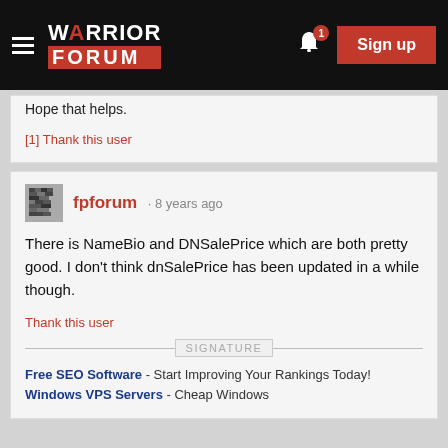Warrior Forum — Sign up
Hope that helps.
[1] Thank this user
fpforum · 8 years ago
There is NameBio and DNSalePrice which are both pretty good. I don't think dnSalePrice has been updated in a while though.
Thank this user
Free SEO Software - Start Improving Your Rankings Today!
Windows VPS Servers - Cheap Windows